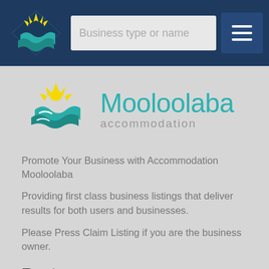Business type or name
[Figure (logo): Mooloolaba accommodation logo with teal and yellow sun/wave design]
Promote Your Business with Accommodation Mooloolaba
Providing first class business listings that deliver results for both users and businesses.
Please Press Claim Listing if you are the business owner.
Partners
| Tourism Listing | Tourism Listing Partners |
| Restaurants Sunshine | Pubs and Clubs |